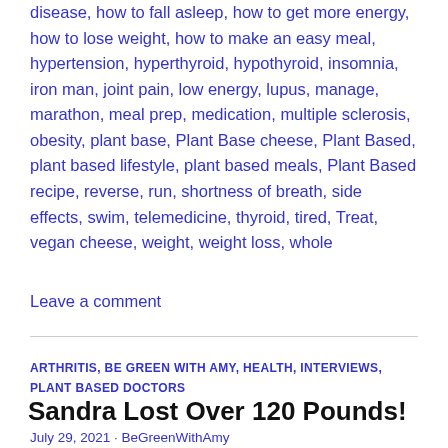disease, how to fall asleep, how to get more energy, how to lose weight, how to make an easy meal, hypertension, hyperthyroid, hypothyroid, insomnia, iron man, joint pain, low energy, lupus, manage, marathon, meal prep, medication, multiple sclerosis, obesity, plant base, Plant Base cheese, Plant Based, plant based lifestyle, plant based meals, Plant Based recipe, reverse, run, shortness of breath, side effects, swim, telemedicine, thyroid, tired, Treat, vegan cheese, weight, weight loss, whole
Leave a comment
ARTHRITIS, BE GREEN WITH AMY, HEALTH, INTERVIEWS, PLANT BASED DOCTORS
Sandra Lost Over 120 Pounds!
July 29, 2021 · BeGreenWithAmy